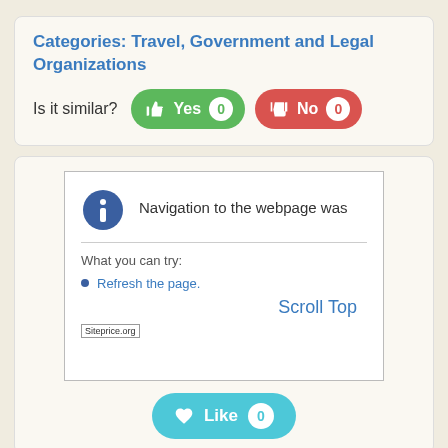Categories: Travel, Government and Legal Organizations
Is it similar? Yes 0  No 0
[Figure (screenshot): Browser navigation error page screenshot showing an info icon, 'Navigation to the webpage was' heading, a horizontal rule, 'What you can try:' label, and a bullet point 'Refresh the page.' with Scroll Top text and Siteprice.org watermark.]
Like 0
bestdealsoflasvegas.com